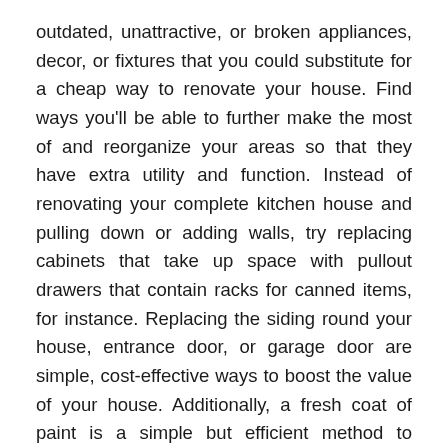outdated, unattractive, or broken appliances, decor, or fixtures that you could substitute for a cheap way to renovate your house. Find ways you'll be able to further make the most of and reorganize your areas so that they have extra utility and function. Instead of renovating your complete kitchen house and pulling down or adding walls, try replacing cabinets that take up space with pullout drawers that contain racks for canned items, for instance. Replacing the siding round your house, entrance door, or garage door are simple, cost-effective ways to boost the value of your house. Additionally, a fresh coat of paint is a simple but efficient method to spruce up your house.
'This is the place lots of the gadgets [highlighted]